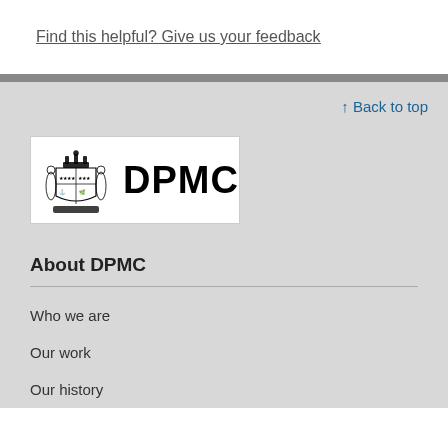Find this helpful? Give us your feedback
[Figure (logo): DPMC logo with New Zealand coat of arms crest on the left and bold text 'DPMC' on the right, on a white background]
↑ Back to top
About DPMC
Who we are
Our work
Our history